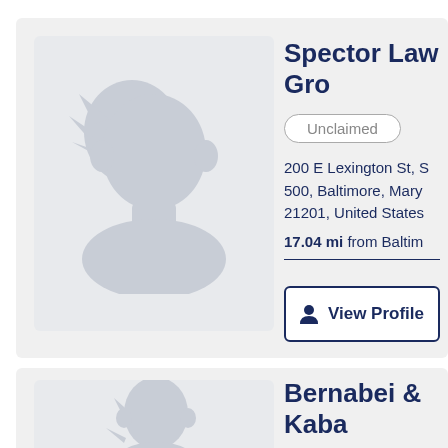[Figure (illustration): Silhouette avatar placeholder for law firm profile photo - first card]
Spector Law Gro
Unclaimed
200 E Lexington St, S 500, Baltimore, Maryland 21201, United States
17.04 mi from Baltim
View Profile
[Figure (illustration): Silhouette avatar placeholder for law firm profile photo - second card]
Bernabei & Kaba
Unclaimed